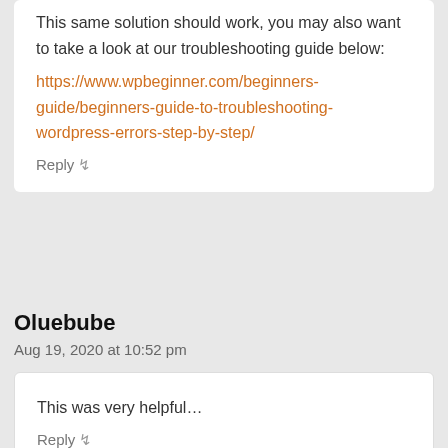This same solution should work, you may also want to take a look at our troubleshooting guide below: https://www.wpbeginner.com/beginners-guide/beginners-guide-to-troubleshooting-wordpress-errors-step-by-step/
Reply
Oluebube
Aug 19, 2020 at 10:52 pm
This was very helpful…
Reply